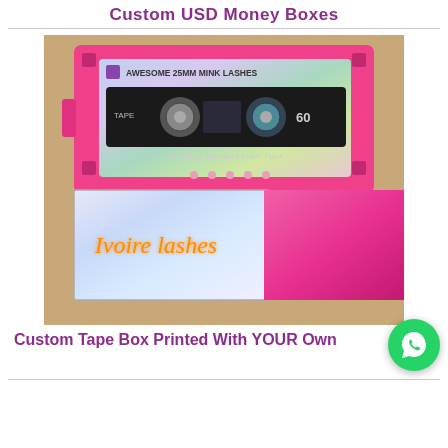Custom USD Money Boxes
[Figure (photo): A pink cassette tape-shaped box with holographic label reading 'AWESOME 25MM MINK LASHES', with a cassette mechanism showing two reels and '60' label, plus a slide-out box below with 'Ivoire lashes' text in neon orange script on a holographic/iridescent background, and a hot pink glitter outer sleeve.]
Custom Tape Box Printed With YOUR Own